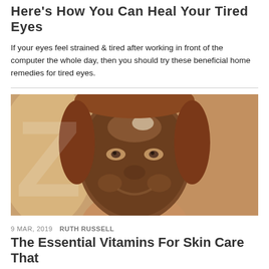Here's How You Can Heal Your Tired Eyes
If your eyes feel strained & tired after working in front of the computer the whole day, then you should try these beneficial home remedies for tired eyes.
[Figure (photo): Woman with brown clay face mask applied over her face, smiling at the camera]
9 MAR, 2019  RUTH RUSSELL
The Essential Vitamins For Skin Care That